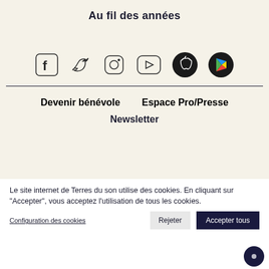Au fil des années
[Figure (illustration): Social media icons row: Facebook, Twitter, Instagram, YouTube (outlined), Apple App Store (black circle), Google Play (black circle with colorful triangle)]
Devenir bénévole
Espace Pro/Presse
Newsletter
Le site internet de Terres du son utilise des cookies. En cliquant sur "Accepter", vous acceptez l'utilisation de tous les cookies.
Configuration des cookies   Rejeter   Accepter tous